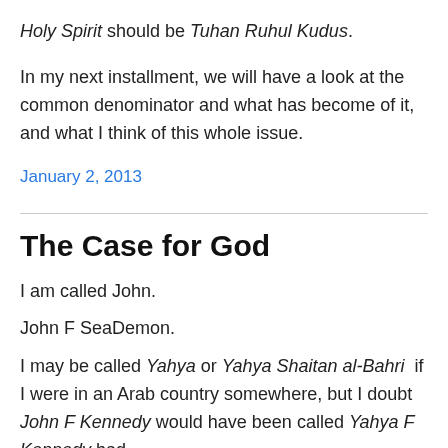Holy Spirit should be Tuhan Ruhul Kudus.
In my next installment, we will have a look at the common denominator and what has become of it, and what I think of this whole issue.
January 2, 2013
The Case for God
I am called John.
John F SeaDemon.
I may be called Yahya or Yahya Shaitan al-Bahri  if I were in an Arab country somewhere, but I doubt John F Kennedy would have been called Yahya F Kennedy had